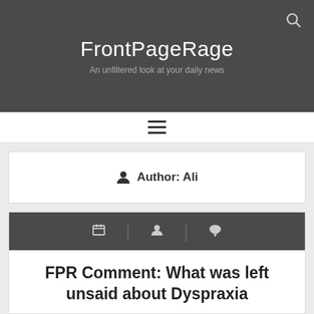FrontPageRage
An unfiltered look at your daily news
☰
Author: Ali
FPR Comment: What was left unsaid about Dyspraxia